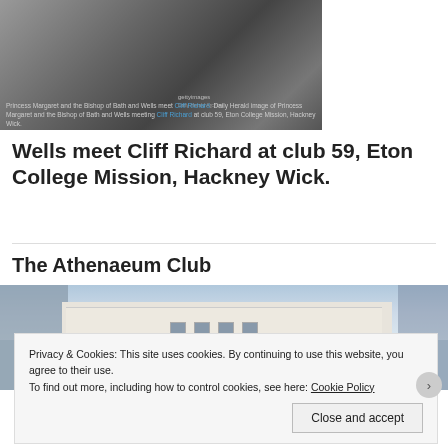[Figure (photo): Black and white photograph of Princess Margaret and the Bishop of Bath and Wells meeting Cliff Richard at club 59, Eton College Mission, Hackney Wick. Getty Images watermark visible.]
Princess Margaret and the Bishop of Bath and Wells meet Cliff Richard. Daily Herald image of Princess Margaret and the Bishop of Bath and Wells meeting Cliff Richard at club 59, Eton College Mission, Hackney Wick.
Wells meet Cliff Richard at club 59, Eton College Mission, Hackney Wick.
The Athenaeum Club
[Figure (photo): Photograph of The Athenaeum Club building exterior with a pale classical facade and blue sky with clouds.]
Privacy & Cookies: This site uses cookies. By continuing to use this website, you agree to their use.
To find out more, including how to control cookies, see here: Cookie Policy
Close and accept